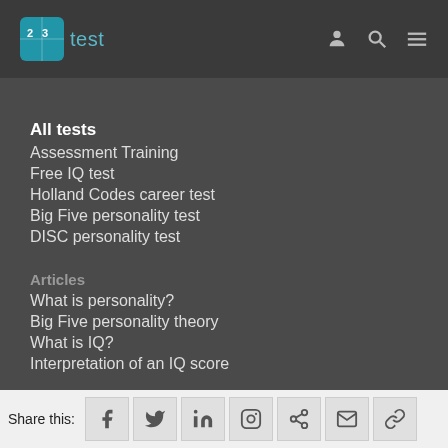123test
All tests
Assessment Training
Free IQ test
Holland Codes career test
Big Five personality test
DISC personality test
Articles
What is personality?
Big Five personality theory
What is IQ?
Interpretation of an IQ score
123test Websites
Share this: